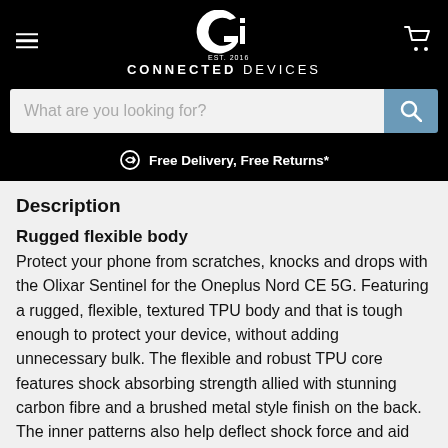CONNECTED DEVICES — EST. 2016
What are you looking for?
Free Delivery, Free Returns*
Description
Rugged flexible body
Protect your phone from scratches, knocks and drops with the Olixar Sentinel for the Oneplus Nord CE 5G. Featuring a rugged, flexible, textured TPU body and that is tough enough to protect your device, without adding unnecessary bulk. The flexible and robust TPU core features shock absorbing strength allied with stunning carbon fibre and a brushed metal style finish on the back. The inner patterns also help deflect shock force and aid